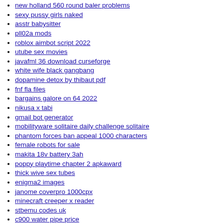new holland 560 round baler problems
sexy pussy girls naked
asstr babysitter
pll02a mods
roblox aimbot script 2022
utube sex movies
javafml 36 download curseforge
white wife black gangbang
dopamine detox by thibaut pdf
fnf fla files
bargains galore on 64 2022
nikusa x tabi
gmail bot generator
mobilityware solitaire daily challenge solitaire
phantom forces ban appeal 1000 characters
female robots for sale
makita 18v battery 3ah
poppy playtime chapter 2 apkaward
thick wive sex tubes
enigma2 images
janome coverpro 1000cpx
minecraft creeper x reader
stbemu codes uk
c900 water pipe price
enel schimbare titular